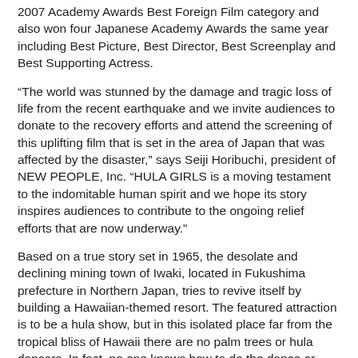2007 Academy Awards Best Foreign Film category and also won four Japanese Academy Awards the same year including Best Picture, Best Director, Best Screenplay and Best Supporting Actress.
“The world was stunned by the damage and tragic loss of life from the recent earthquake and we invite audiences to donate to the recovery efforts and attend the screening of this uplifting film that is set in the area of Japan that was affected by the disaster,” says Seiji Horibuchi, president of NEW PEOPLE, Inc. “HULA GIRLS is a moving testament to the indomitable human spirit and we hope its story inspires audiences to contribute to the ongoing relief efforts that are now underway.”
Based on a true story set in 1965, the desolate and declining mining town of Iwaki, located in Fukushima prefecture in Northern Japan, tries to revive itself by building a Hawaiian-themed resort. The featured attraction is to be a hula show, but in this isolated place far from the tropical bliss of Hawaii there are no palm trees or hula dancers. In fact, no one knows how to do the dance or even knows what the hula is!